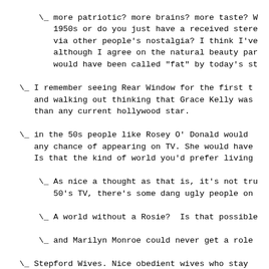more patriotic? more brains? more taste? W
1950s or do you just have a received stere
via other people's nostalgia? I think I've
although I agree on the natural beauty par
would have been called "fat" by today's st
I remember seeing Rear Window for the first t
and walking out thinking that Grace Kelly was
than any current hollywood star.
in the 50s people like Rosey O' Donald would
any chance of appearing on TV. She would have
Is that the kind of world you'd prefer living
As nice a thought as that is, it's not tru
50's TV, there's some dang ugly people on
A world without a Rosie?  Is that possible
and Marilyn Monroe could never get a role
Stepford Wives. Nice obedient wives who stay
and take care of the children... unlike moder
Did I say something about wives?  I just r
fact that women in old movies are attracti
in flics today don't even look human, it's
I agree 100% about the women in a lot o
looking bizarre and inhuman almost, but
a LOT of that is due to digital retouch
have gotten out of hand.  In fact Britn
is rather ordinary looking without the
on her.
Tastes have changed. Instead of Rita
Taylor we have Jennifer Garner. Musc
take precedence over classic good lo
think, more concerned with the body